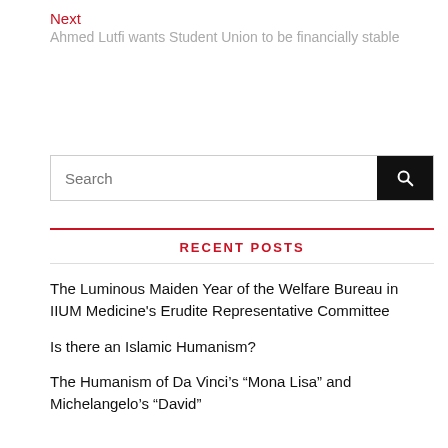Next
Ahmed Lutfi wants Student Union to be financially stable
[Figure (screenshot): Search input box with black search button containing a magnifying glass icon]
RECENT POSTS
The Luminous Maiden Year of the Welfare Bureau in IIUM Medicine's Erudite Representative Committee
Is there an Islamic Humanism?
The Humanism of Da Vinci's “Mona Lisa” and Michelangelo’s “David”